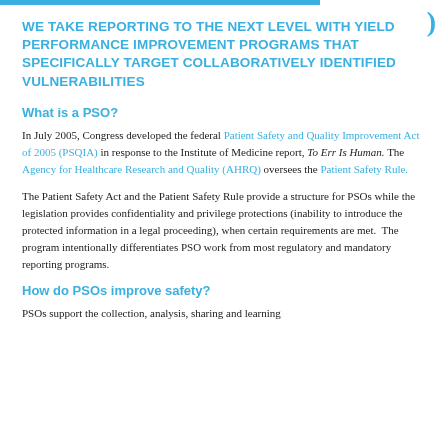WE TAKE REPORTING TO THE NEXT LEVEL WITH YIELD PERFORMANCE IMPROVEMENT PROGRAMS THAT SPECIFICALLY TARGET COLLABORATIVELY IDENTIFIED VULNERABILITIES
What is a PSO?
In July 2005, Congress developed the federal Patient Safety and Quality Improvement Act of 2005 (PSQIA) in response to the Institute of Medicine report, To Err Is Human. The Agency for Healthcare Research and Quality (AHRQ) oversees the Patient Safety Rule.
The Patient Safety Act and the Patient Safety Rule provide a structure for PSOs while the legislation provides confidentiality and privilege protections (inability to introduce the protected information in a legal proceeding), when certain requirements are met. The program intentionally differentiates PSO work from most regulatory and mandatory reporting programs.
How do PSOs improve safety?
PSOs support the collection, analysis, sharing and learning